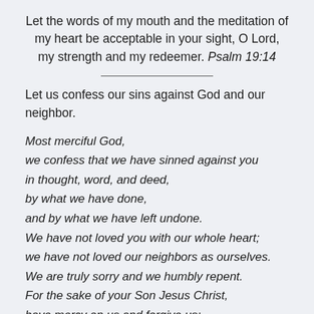Let the words of my mouth and the meditation of my heart be acceptable in your sight, O Lord, my strength and my redeemer. Psalm 19:14
Let us confess our sins against God and our neighbor.
Most merciful God,
we confess that we have sinned against you
in thought, word, and deed,
by what we have done,
and by what we have left undone.
We have not loved you with our whole heart;
we have not loved our neighbors as ourselves.
We are truly sorry and we humbly repent.
For the sake of your Son Jesus Christ,
have mercy on us and forgive us;
that we may delight in your will,
and walk in your ways.